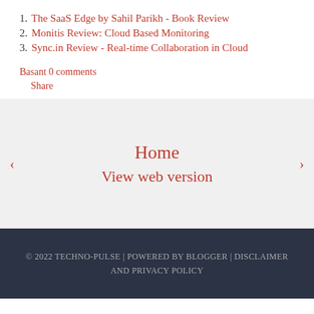1. The SaaS Edge by Sahil Parikh - Book Review
2. Monitis Review: Cloud Based Monitoring
3. Sync.in Review - Real-time Collaboration in Cloud
Basant 0 comments
Share
Home
View web version
© 2022 TECHNO-PULSE | POWERED BY BLOGGER | DISCLAIMER AND PRIVACY POLICY